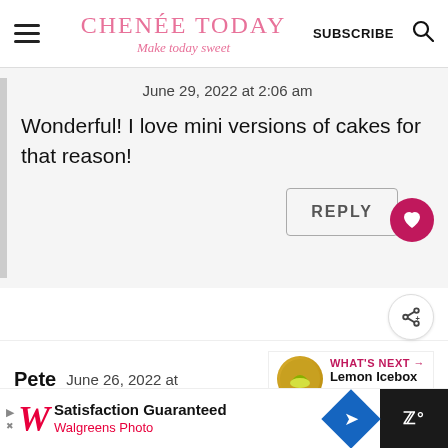CHENÉE TODAY — Make today sweet | SUBSCRIBE | Search
June 29, 2022 at 2:06 am
Wonderful! I love mini versions of cakes for that reason!
REPLY
Pete    June 26, 2022 at
WHAT'S NEXT → Lemon Icebox Pie
[Figure (other): Five gold star rating]
[Figure (other): Walgreens Photo advertisement — Satisfaction Guaranteed]